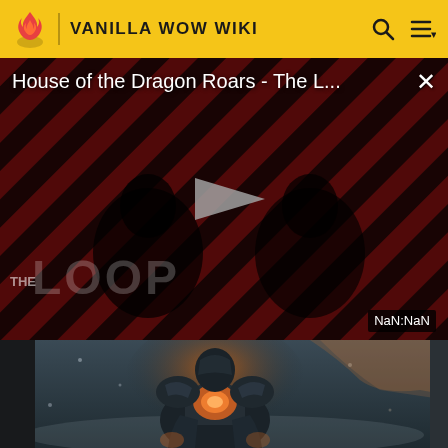VANILLA WOW WIKI
[Figure (screenshot): Video player showing 'House of the Dragon Roars - The L...' with diagonal red and black striped background, a play button in the center, 'THE LOOP' watermark text, and 'NaN:NaN' timestamp badge in bottom right. Close (X) button in top right.]
[Figure (illustration): Fantasy illustration of an armored warrior figure in dark armor with glowing orange/golden light emanating from chest area, on a dark atmospheric background. Appears to be World of Warcraft artwork.]